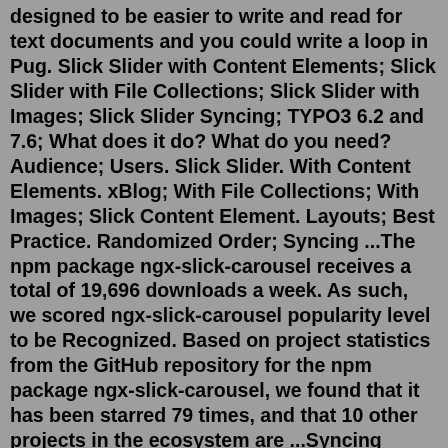designed to be easier to write and read for text documents and you could write a loop in Pug. Slick Slider with Content Elements; Slick Slider with File Collections; Slick Slider with Images; Slick Slider Syncing; TYPO3 6.2 and 7.6; What does it do? What do you need? Audience; Users. Slick Slider. With Content Elements. xBlog; With File Collections; With Images; Slick Content Element. Layouts; Best Practice. Randomized Order; Syncing ...The npm package ngx-slick-carousel receives a total of 19,696 downloads a week. As such, we scored ngx-slick-carousel popularity level to be Recognized. Based on project statistics from the GitHub repository for the npm package ngx-slick-carousel, we found that it has been starred 79 times, and that 10 other projects in the ecosystem are ...Syncing video with Slick carousel. Using Umbraco And Getting Started. Umbraco 8. We are using Slick Carousel with video in the slider. There are 3 slides with a different video in each. All the videos are the same size and are all 6 seconds long.